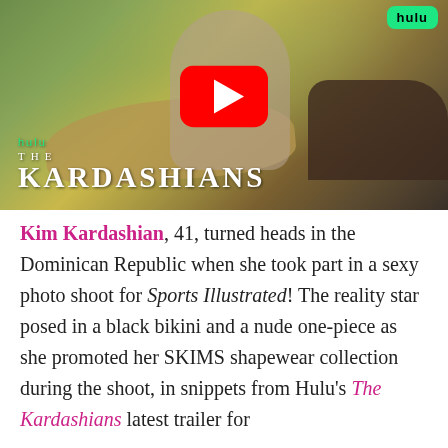[Figure (screenshot): Video thumbnail showing a woman on a canoe near water with tropical greenery. Text overlay reads 'hulu / THE / KARDASHIANS'. A YouTube play button is visible in the center. Hulu badge in top right corner.]
Kim Kardashian, 41, turned heads in the Dominican Republic when she took part in a sexy photo shoot for Sports Illustrated! The reality star posed in a black bikini and a nude one-piece as she promoted her SKIMS shapewear collection during the shoot, in snippets from Hulu's The Kardashians latest trailer for